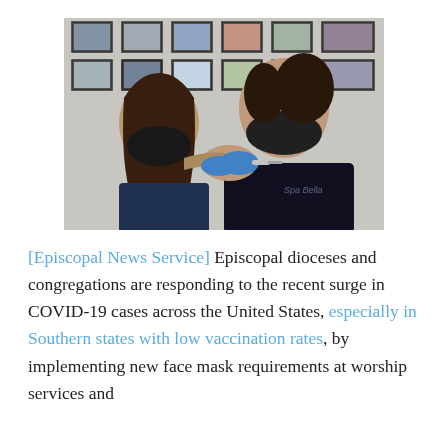[Figure (photo): A healthcare worker in blue gloves administering a vaccine injection into the arm of a young woman wearing a black face mask and black top. The background shows framed pictures on a wall.]
[Episcopal News Service] Episcopal dioceses and congregations are responding to the recent surge in COVID-19 cases across the United States, especially in Southern states with low vaccination rates, by implementing new face mask requirements at worship services and